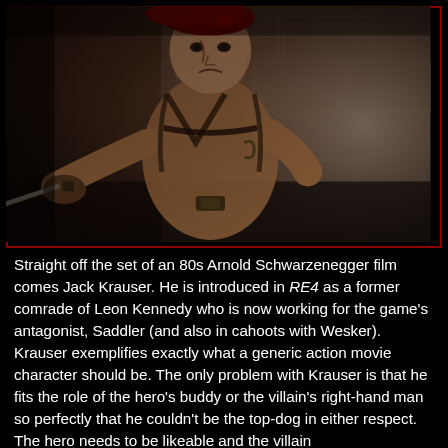[Figure (screenshot): A video game screenshot from Resident Evil 4 showing Jack Krauser, a muscular male character wearing a red beret and tactical harness, holding a knife pointed forward in a confrontational pose. The background shows a stone wall. The image has a dark, sepia-toned color grading with a dark red border.]
Straight off the set of an 80s Arnold Schwarzenegger film comes Jack Krauser. He is introduced in RE4 as a former comrade of Leon Kennedy who is now working for the game's antagonist, Saddler (and also in cahoots with Wesker). Krauser exemplifies exactly what a generic action movie character should be. The only problem with Krauser is that he fits the role of the hero's buddy or the villain's right-hand man so perfectly that he couldn't be the top-dog in either respect. The hero needs to be likeable and the villain